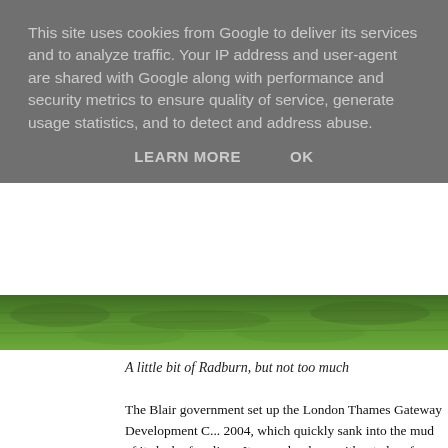This site uses cookies from Google to deliver its services and to analyze traffic. Your IP address and user-agent are shared with Google along with performance and security metrics to ensure quality of service, generate usage statistics, and to detect and address abuse.
LEARN MORE    OK
[Figure (photo): Strip of green grass lawn]
A little bit of Radburn, but not too much
The Blair government set up the London Thames Gateway Development C... 2004, which quickly sank into the mud of its lack of realism. It was a bonko... without clear focus and priorities, reliant on the co-operation and good will... development industry which surprisingly was not forthcoming. The LTGDC... but nobody much noticed. Now the Centre for London has published a new... Unlocking the potential of the Thames Estuary'. It is authored by luminarie... projects junkie Lord Adonis and the veteran planner Sir Peter Hall (always... an introduction by veteran and unrepentant Bourbon Lord Heseltine. There... of what went wrong with the Thames Gateway and somewhat less convinci... how to go forward with a rebranded 'East Thames' development strategy. I... towns' at Ebbsfleet, Barking Reach and Thurrock and a Disneyland at Swa... recommendation to reinvent the proactive development corporation model... Keynes however is sensible. MK is now seen as the great success story alth...